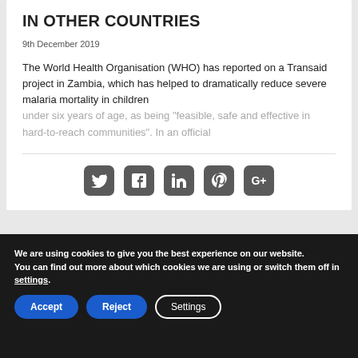IN OTHER COUNTRIES
9th December 2019
The World Health Organisation (WHO) has reported on a Transaid project in Zambia, which has helped to dramatically reduce severe malaria mortality in children under six years of age, as being “feasible, safe and effective in hard-to-reach communities”. In an official
[Figure (infographic): Social media share icons: Twitter, Facebook, LinkedIn, Pinterest, Google+]
[Figure (photo): Partial view of a second article card with an image showing warm orange/amber tones]
We are using cookies to give you the best experience on our website.
You can find out more about which cookies we are using or switch them off in settings.
Accept  Reject  Settings